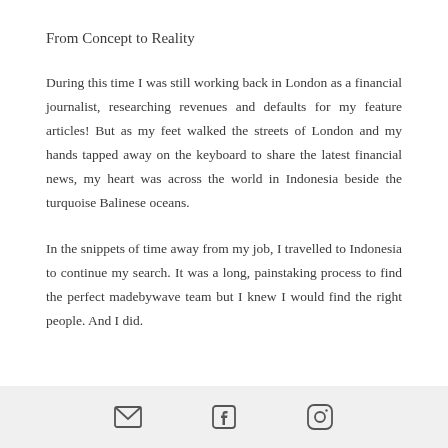From Concept to Reality
During this time I was still working back in London as a financial journalist, researching revenues and defaults for my feature articles! But as my feet walked the streets of London and my hands tapped away on the keyboard to share the latest financial news, my heart was across the world in Indonesia beside the turquoise Balinese oceans.
In the snippets of time away from my job, I travelled to Indonesia to continue my search. It was a long, painstaking process to find the perfect madebywave team but I knew I would find the right people. And I did.
[email icon] [facebook icon] [instagram icon]